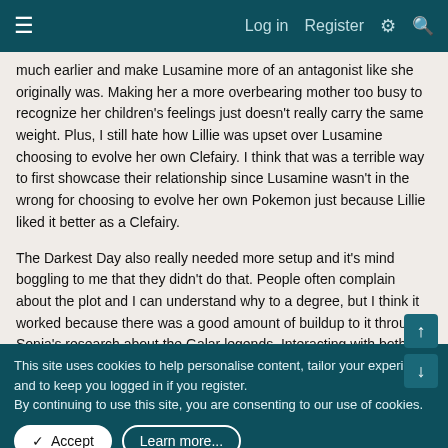Log in  Register
much earlier and make Lusamine more of an antagonist like she originally was. Making her a more overbearing mother too busy to recognize her children's feelings just doesn't really carry the same weight. Plus, I still hate how Lillie was upset over Lusamine choosing to evolve her own Clefairy. I think that was a terrible way to first showcase their relationship since Lusamine wasn't in the wrong for choosing to evolve her own Pokemon just because Lillie liked it better as a Clefairy.
The Darkest Day also really needed more setup and it's mind boggling to me that they didn't do that. People often complain about the plot and I can understand why to a degree, but I think it worked because there was a good amount of buildup to it through Sonia's research about the Galar legends. Interacting with both Hop and Sonia during those scenes made it easier for
This site uses cookies to help personalise content, tailor your experience and to keep you logged in if you register.
By continuing to use this site, you are consenting to our use of cookies.